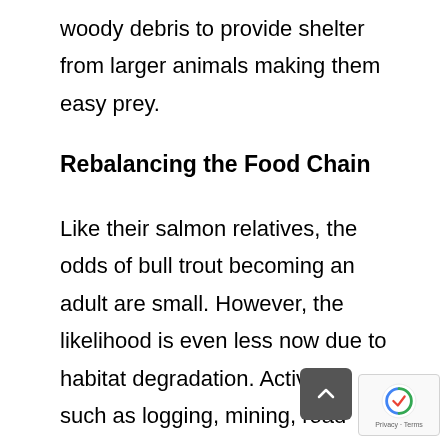woody debris to provide shelter from larger animals making them easy prey.
Rebalancing the Food Chain
Like their salmon relatives, the odds of bull trout becoming an adult are small. However, the likelihood is even less now due to habitat degradation. Activities such as logging, mining, road